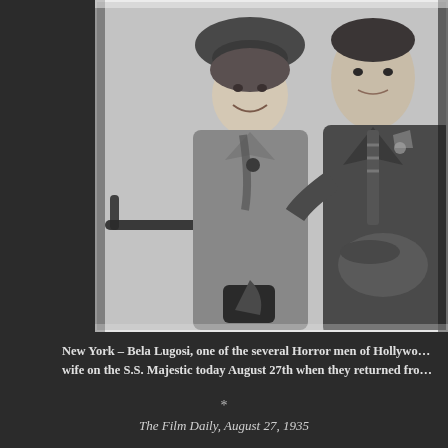[Figure (photo): Black and white photograph of Bela Lugosi and his wife, a couple posing together. The woman wears a hat and suit, smiling. The man in a dark suit holds a hat. They appear to be on a ship or dock setting with a railing visible behind them.]
New York – Bela Lugosi, one of the several Horror men of Hollywood, and wife on the S.S. Majestic today August 27th when they returned from
*
The Film Daily, August 27, 1935